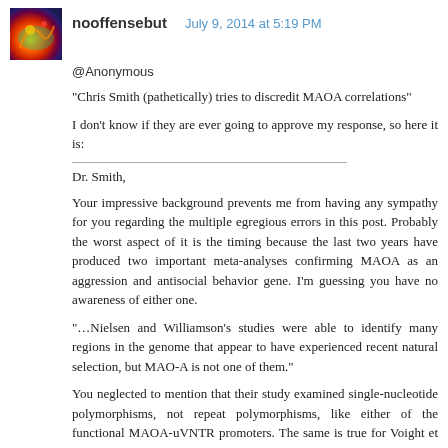nooffensebut   July 9, 2014 at 5:19 PM
@Anonymous
“Chris Smith (pathetically) tries to discredit MAOA correlations”
I don’t know if they are ever going to approve my response, so here it is:
Dr. Smith,
Your impressive background prevents me from having any sympathy for you regarding the multiple egregious errors in this post. Probably the worst aspect of it is the timing because the last two years have produced two important meta-analyses confirming MAOA as an aggression and antisocial behavior gene. I’m guessing you have no awareness of either one.
“…Nielsen and Williamson’s studies were able to identify many regions in the genome that appear to have experienced recent natural selection, but MAO-A is not one of them.”
You neglected to mention that their study examined single-nucleotide polymorphisms, not repeat polymorphisms, like either of the functional MAOA-uVNTR promoters. The same is true for Voight et al.